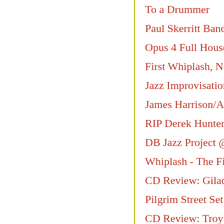To a Drummer
Paul Skerritt Band @
Opus 4 Full House C
First Whiplash, Now
Jazz Improvisation W
James Harrison/Alex
RIP Derek Hunter
DB Jazz Project @ J
Whiplash - The Film
CD Review: Gilad A
Pilgrim Street Set @
CD Review: Troyka
Djangologie sell out
The Scottish Nationa
Radio Russell: The C